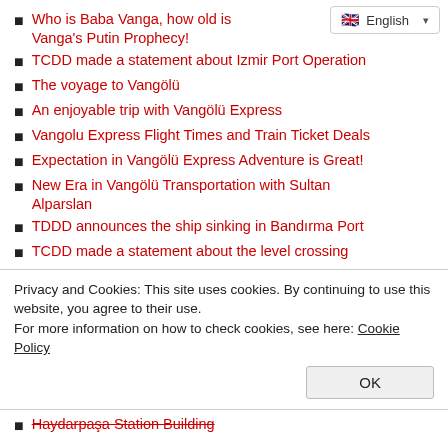Who is Baba Vanga, how old is… Vanga's Putin Prophecy!
TCDD made a statement about Izmir Port Operation
The voyage to Vangölü
An enjoyable trip with Vangölü Express
Vangolu Express Flight Times and Train Ticket Deals
Expectation in Vangölü Express Adventure is Great!
New Era in Vangölü Transportation with Sultan Alparslan
TDDD announces the ship sinking in Bandırma Port
TCDD made a statement about the level crossing
Privacy and Cookies: This site uses cookies. By continuing to use this website, you agree to their use.
For more information on how to check cookies, see here: Cookie Policy
Haydarpaşa Station Building